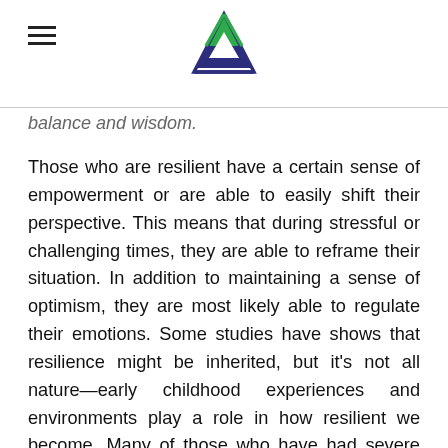[hamburger menu icon] [triangle logo]
balance and wisdom.
Those who are resilient have a certain sense of empowerment or are able to easily shift their perspective. This means that during stressful or challenging times, they are able to reframe their situation. In addition to maintaining a sense of optimism, they are most likely able to regulate their emotions. Some studies have shows that resilience might be inherited, but it's not all nature—early childhood experiences and environments play a role in how resilient we become. Many of those who have had severe childhood trauma or those who